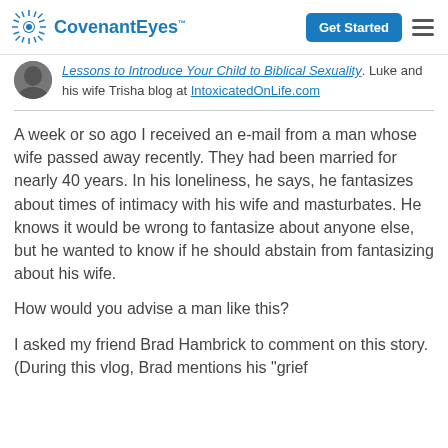CovenantEyes | Get Started
Lessons to Introduce Your Child to Biblical Sexuality. Luke and his wife Trisha blog at IntoxicatedOnLife.com
A week or so ago I received an e-mail from a man whose wife passed away recently. They had been married for nearly 40 years. In his loneliness, he says, he fantasizes about times of intimacy with his wife and masturbates. He knows it would be wrong to fantasize about anyone else, but he wanted to know if he should abstain from fantasizing about his wife.
How would you advise a man like this?
I asked my friend Brad Hambrick to comment on this story. (During this vlog, Brad mentions his "grief